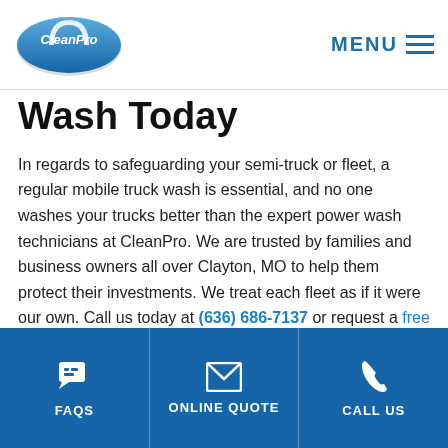[Figure (logo): CleanPro logo - oval blue badge with white text and arch graphic]
MENU
Wash Today
In regards to safeguarding your semi-truck or fleet, a regular mobile truck wash is essential, and no one washes your trucks better than the expert power wash technicians at CleanPro. We are trusted by families and business owners all over Clayton, MO to help them protect their investments. We treat each fleet as if it were our own. Call us today at (636) 686-7137 or request a free quote through our website.
FAQS | ONLINE QUOTE | CALL US